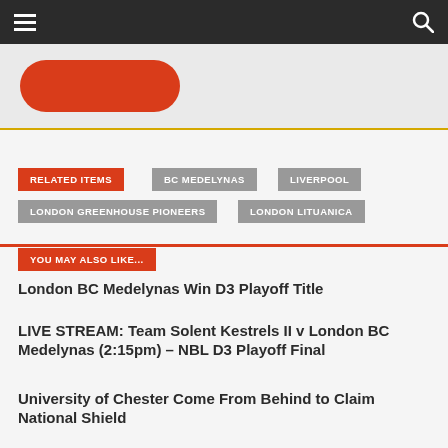Navigation bar with hamburger menu and search icon
[Figure (other): Partial red rounded button on grey background with gold/yellow bottom border]
RELATED ITEMS
BC MEDELYNAS
LIVERPOOL
LONDON GREENHOUSE PIONEERS
LONDON LITUANICA
YOU MAY ALSO LIKE...
London BC Medelynas Win D3 Playoff Title
LIVE STREAM: Team Solent Kestrels II v London BC Medelynas (2:15pm) – NBL D3 Playoff Final
University of Chester Come From Behind to Claim National Shield